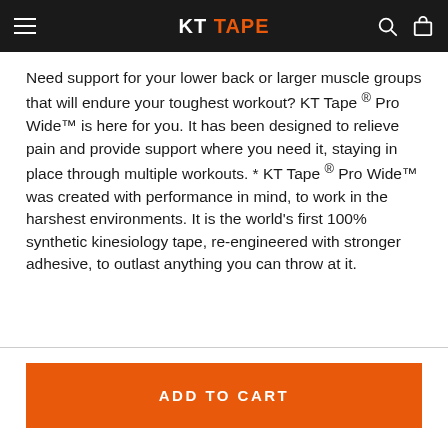KT TAPE
Need support for your lower back or larger muscle groups that will endure your toughest workout? KT Tape ® Pro Wide™ is here for you. It has been designed to relieve pain and provide support where you need it, staying in place through multiple workouts. * KT Tape ® Pro Wide™ was created with performance in mind, to work in the harshest environments. It is the world's first 100% synthetic kinesiology tape, re-engineered with stronger adhesive, to outlast anything you can throw at it.
ADD TO CART